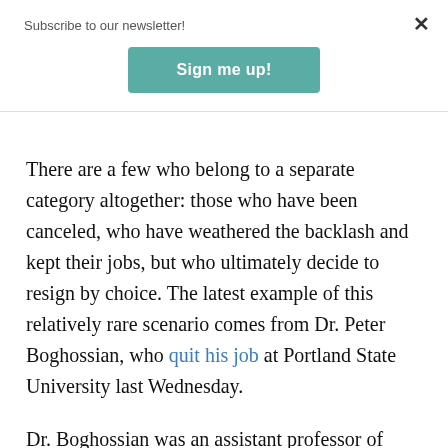Subscribe to our newsletter!
[Figure (other): Sign me up! button — teal/green rounded rectangle]
There are a few who belong to a separate category altogether: those who have been canceled, who have weathered the backlash and kept their jobs, but who ultimately decide to resign by choice. The latest example of this relatively rare scenario comes from Dr. Peter Boghossian, who quit his job at Portland State University last Wednesday.
Dr. Boghossian was an assistant professor of philosophy at PSU for about ten years. In that